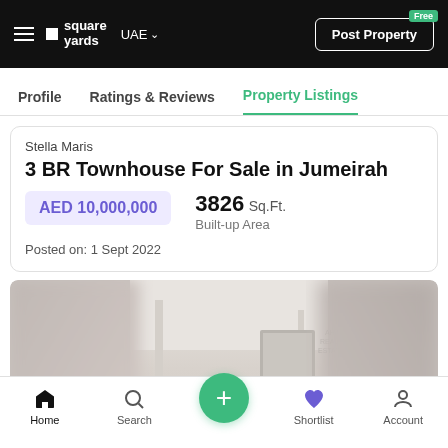square yards UAE — Post Property Free
Profile | Ratings & Reviews | Property Listings
Stella Maris
3 BR Townhouse For Sale in Jumeirah
AED 10,000,000 | 3826 Sq.Ft. Built-up Area
Posted on: 1 Sept 2022
[Figure (photo): Interior photo of a luxury townhouse showing open plan living area with high ceilings, blurred on left and right edges]
Contact Me
Home | Search | + | Shortlist | Account